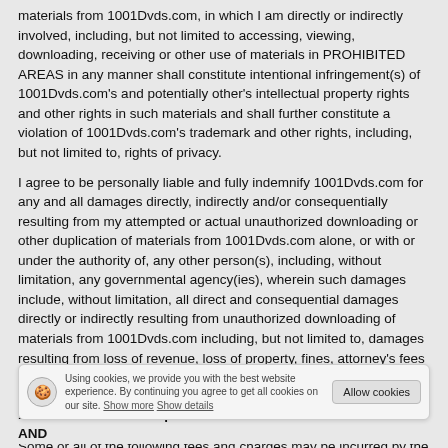materials from 1001Dvds.com, in which I am directly or indirectly involved, including, but not limited to accessing, viewing, downloading, receiving or other use of materials in PROHIBITED AREAS in any manner shall constitute intentional infringement(s) of 1001Dvds.com's and potentially other's intellectual property rights and other rights in such materials and shall further constitute a violation of 1001Dvds.com's trademark and other rights, including, but not limited to, rights of privacy.
I agree to be personally liable and fully indemnify 1001Dvds.com for any and all damages directly, indirectly and/or consequentially resulting from my attempted or actual unauthorized downloading or other duplication of materials from 1001Dvds.com alone, or with or under the authority of, any other person(s), including, without limitation, any governmental agency(ies), wherein such damages include, without limitation, all direct and consequential damages directly or indirectly resulting from unauthorized downloading of materials from 1001Dvds.com including, but not limited to, damages resulting from loss of revenue, loss of property, fines, attorney's fees and costs, including, without limitation, damages resulting from prosecution and/or governmentally imposed seizure(s), forfeiture(s), and/or injunction(s).
Some or all of the following fees and charges may be incurred by the Subscriber: a. Subscription Fees. The Subscriber is responsible for paying periodic subscription fees according to the then-current billing terms. You must be 18 years of age or older to receive a membership to our sites. For your convenience and satisfaction, all memberships will automatically renew upon expiration unless your subscription is cancelled at least 24 hours prior to expiration. The cost of
1001Dvds.com subscription rates. YOUR PRICING FOR TRIALS AND